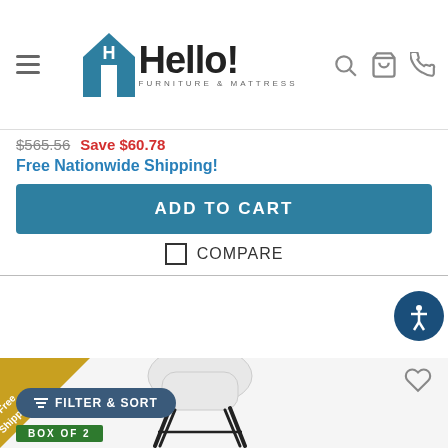Hello! Furniture & Mattress - navigation header
$565.56  Save $60.78
Free Nationwide Shipping!
ADD TO CART
COMPARE
[Figure (photo): White molded bar stool with black metal legs, shown on a product listing page for Hello! Furniture & Mattress. A golden diagonal 'Free Shipping' badge is shown in the top-left corner of the product image. A heart (wishlist) icon appears top-right.]
FILTER & SORT
BOX OF 2